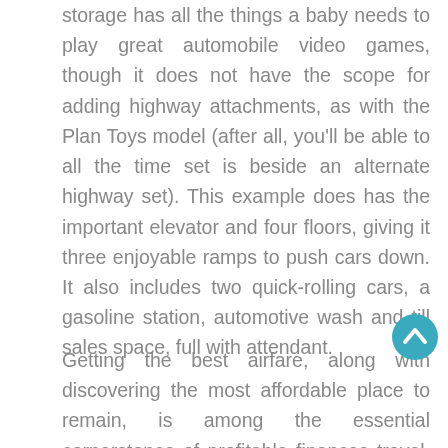storage has all the things a baby needs to play great automobile video games, though it does not have the scope for adding highway attachments, as with the Plan Toys model (after all, you'll be able to all the time set is beside an alternate highway set). This example does has the important elevator and four floors, giving it three enjoyable ramps to push cars down. It also includes two quick-rolling cars, a gasoline station, automotive wash and till sales space, full with attendant.
Getting the best airfare, along with discovering the most affordable place to remain, is among the essential cornerstones of profitable finances travel. There are a selection of strategies for getting one of the best deal on airfare, from using credit cards to rack up frequent flier miles, to utilizing discount airways, to traveling within the off or shoulder season. The strategy that's best for you